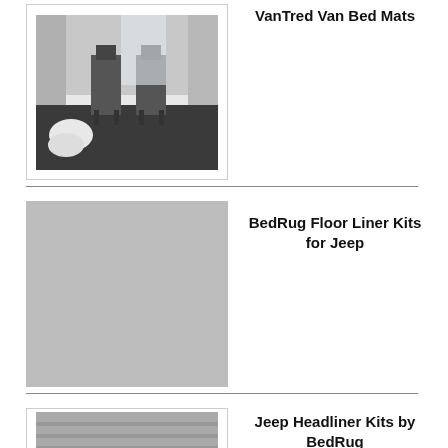[Figure (photo): Interior view of a van cargo area with dark floor mat installed, showing rear doors open and cargo space]
VanTred Van Bed Mats
[Figure (photo): Placeholder gray image for BedRug Floor Liner Kits for Jeep]
BedRug Floor Liner Kits for Jeep
[Figure (photo): Partial view of Jeep Headliner Kits product image]
Jeep Headliner Kits by BedRug